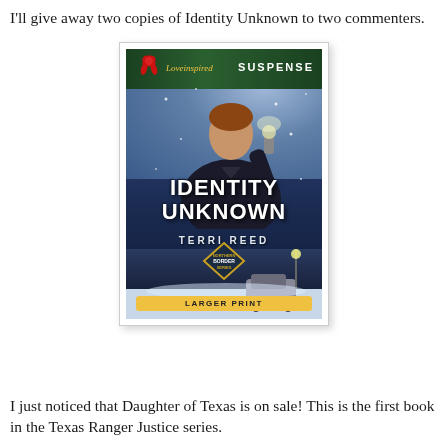I'll give away two copies of Identity Unknown to two commenters.
[Figure (photo): Book cover of 'Identity Unknown' by Terri Reed, a Love Inspired Suspense novel with Larger Print label. Shows a man in a dark jacket holding a flashlight against a snowy night background with Christmas decorations at top.]
I just noticed that Daughter of Texas is on sale! This is the first book in the Texas Ranger Justice series.